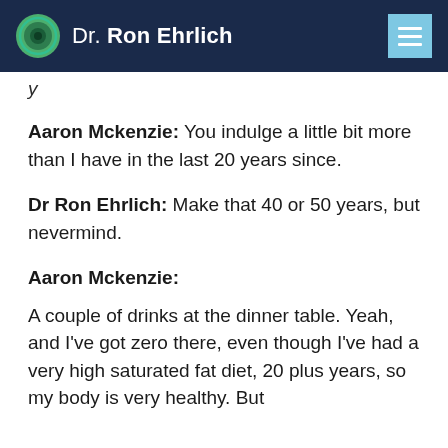Dr. Ron Ehrlich
y
Aaron Mckenzie: You indulge a little bit more than I have in the last 20 years since.
Dr Ron Ehrlich: Make that 40 or 50 years, but nevermind.
Aaron Mckenzie:
A couple of drinks at the dinner table. Yeah, and I’ve got zero there, even though I’ve had a very high saturated fat diet, 20 plus years, so my body is very healthy. But